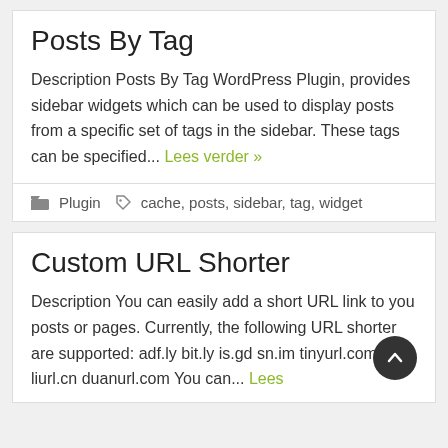Posts By Tag
Description Posts By Tag WordPress Plugin, provides sidebar widgets which can be used to display posts from a specific set of tags in the sidebar. These tags can be specified... Lees verder »
Plugin   cache, posts, sidebar, tag, widget
Custom URL Shorter
Description You can easily add a short URL link to you posts or pages. Currently, the following URL shorter are supported: adf.ly bit.ly is.gd sn.im tinyurl.com liurl.cn duanurl.com You can... Lees